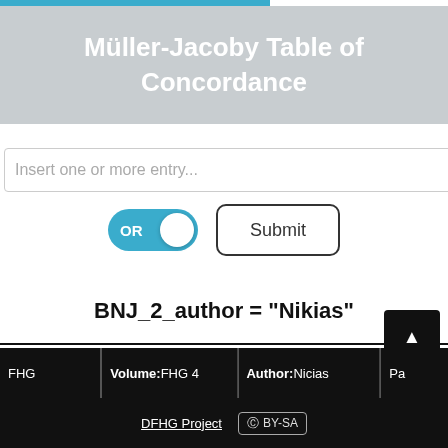Müller-Jacoby Table of Concordance
Insert one or more entry...
OR  Submit
BNJ_2_author = "Nikias"
| FHG | Volume: FHG 4 | Author: Nicias | Pa... |
| --- | --- | --- | --- |
DFHG Project  (cc) BY-SA